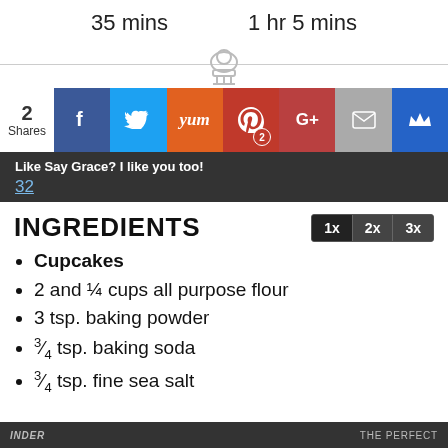35 mins    1 hr 5 mins
[Figure (other): Social sharing bar with Facebook, Twitter, Yummly, Pinterest (2), Google+, Mail, Crown icons. Shows '2 Shares' label on the left.]
Like Say Grace? I like you too!
32
INGREDIENTS
Cupcakes
2 and ¼ cups all purpose flour
3 tsp. baking powder
¾ tsp. baking soda
¾ tsp. fine sea salt